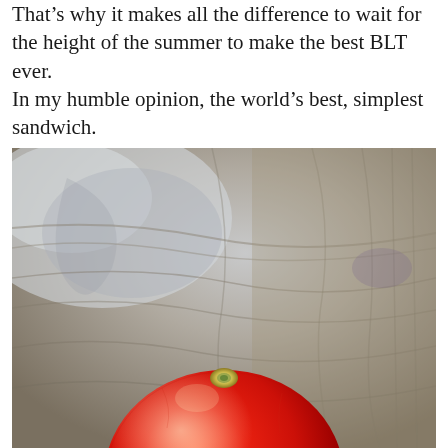That's why it makes all the difference to wait for the height of the summer to make the best BLT ever. In my humble opinion, the world's best, simplest sandwich.
[Figure (photo): A close-up photograph of a ripe red tomato resting on a weathered wooden surface with grain patterns visible in grey and brown tones. The tomato is bright red with a small white stem scar visible at top center.]